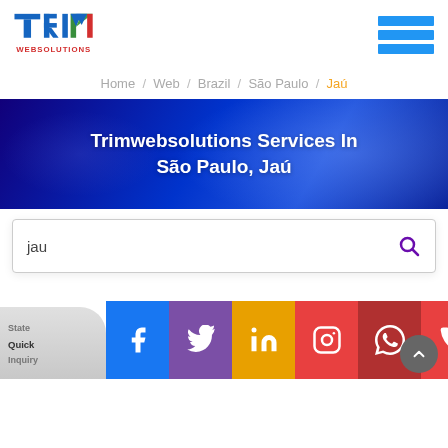[Figure (logo): TRIM WEBSOLUTIONS logo — stylized T, R, I, M letters in blue, green, red with 'WEBSOLUTIONS' text below]
[Figure (other): Hamburger menu icon — three horizontal blue bars]
Home / Web / Brazil / São Paulo / Jaú
Trimwebsolutions Services In São Paulo, Jaú
jau
[Figure (infographic): Social media icons bar: Facebook (blue), Twitter (purple), LinkedIn (yellow/orange), Instagram (red), WhatsApp (dark red), Phone (red)]
State
Quick
Inquiry